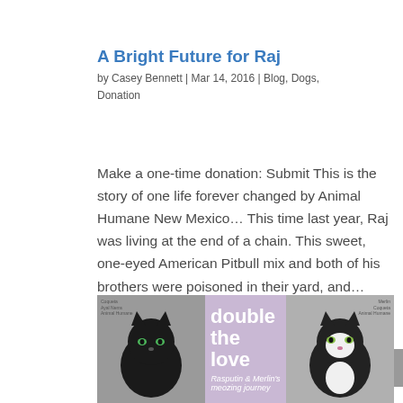A Bright Future for Raj
by Casey Bennett | Mar 14, 2016 | Blog, Dogs, Donation
Make a one-time donation: Submit This is the story of one life forever changed by Animal Humane New Mexico… This time last year, Raj was living at the end of a chain. This sweet, one-eyed American Pitbull mix and both of his brothers were poisoned in their yard, and…
[Figure (photo): A banner image showing two cats — a black cat on the left and a tuxedo (black and white) cat on the right — with a lavender/purple center panel displaying the text 'double the love' and subtitle 'Rasputin & Merlin's meozing journey']